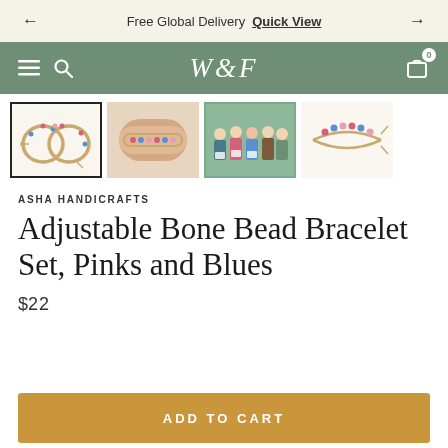← Free Global Delivery  Quick View  →
W&F  0
[Figure (photo): Four product thumbnail images of an adjustable bone bead bracelet set in pinks and blues: first showing two circle bracelets laid flat (selected/highlighted), second showing bracelet worn on wrist, third showing a group photo of people, fourth showing a single bracelet laid flat.]
ASHA HANDICRAFTS
Adjustable Bone Bead Bracelet Set, Pinks and Blues
$22
ADD TO CART